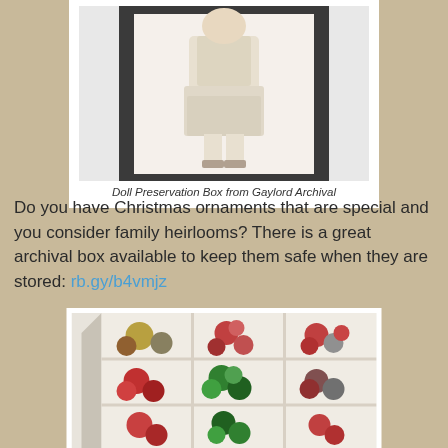[Figure (photo): A doll preservation box from Gaylord Archival — a dark-framed box with a window showing a doll dressed in white vintage clothing standing inside it.]
Doll Preservation Box from Gaylord Archival
Do you have Christmas ornaments that are special and you consider family heirlooms? There is a great archival box available to keep them safe when they are stored: rb.gy/b4vmjz
[Figure (photo): An archival ornament storage box with dividers creating compartments, filled with red, green, gold, and silver Christmas ornament balls.]